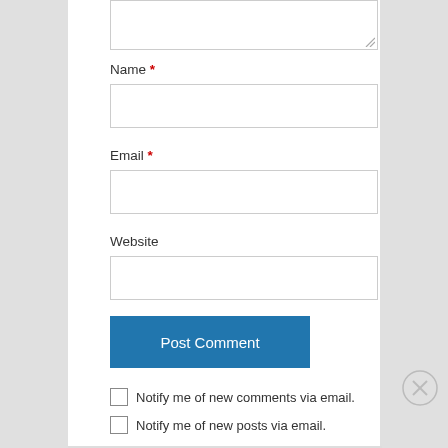[Figure (screenshot): Partial textarea input field (top of page, cropped)]
Name *
[Figure (screenshot): Name text input field (empty)]
Email *
[Figure (screenshot): Email text input field (empty)]
Website
[Figure (screenshot): Website text input field (empty)]
[Figure (screenshot): Post Comment button (blue)]
Notify me of new comments via email.
Notify me of new posts via email.
Advertisements
AUTOMATTIC
Build a better web and a better world.